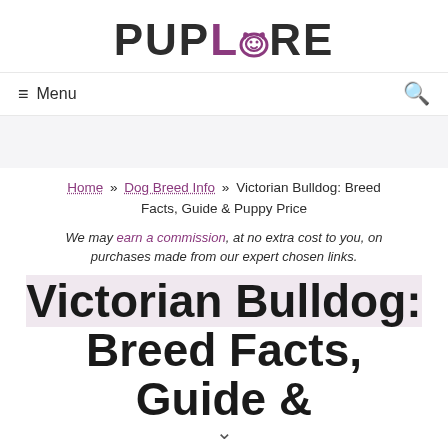PUPLORE
≡ Menu
Home » Dog Breed Info » Victorian Bulldog: Breed Facts, Guide & Puppy Price
We may earn a commission, at no extra cost to you, on purchases made from our expert chosen links.
Victorian Bulldog: Breed Facts, Guide &